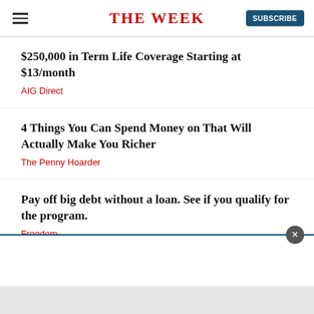THE WEEK
$250,000 in Term Life Coverage Starting at $13/month
AIG Direct
4 Things You Can Spend Money on That Will Actually Make You Richer
The Penny Hoarder
Pay off big debt without a loan. See if you qualify for the program.
Freedom